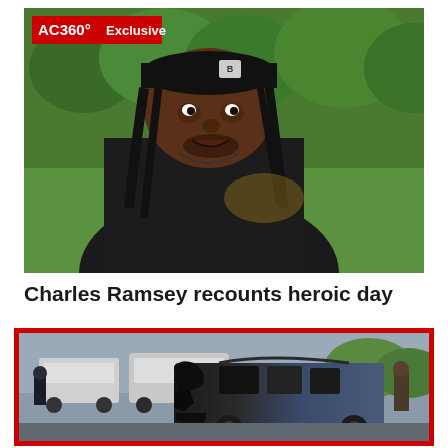[Figure (photo): CNN AC360 Exclusive screenshot showing Charles Ramsey, a man wearing a black t-shirt and dark cap with MLB logo, speaking outdoors with green trees and grass in the background]
Charles Ramsey recounts heroic day
[Figure (photo): Photo with red border showing a severely damaged and burned SUV/vehicle at what appears to be an accident or crime scene, with people visible in the background near other vehicles]